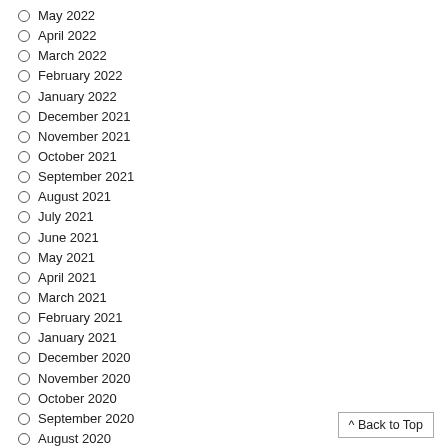May 2022
April 2022
March 2022
February 2022
January 2022
December 2021
November 2021
October 2021
September 2021
August 2021
July 2021
June 2021
May 2021
April 2021
March 2021
February 2021
January 2021
December 2020
November 2020
October 2020
September 2020
August 2020
July 2020
June 2020
^ Back to Top